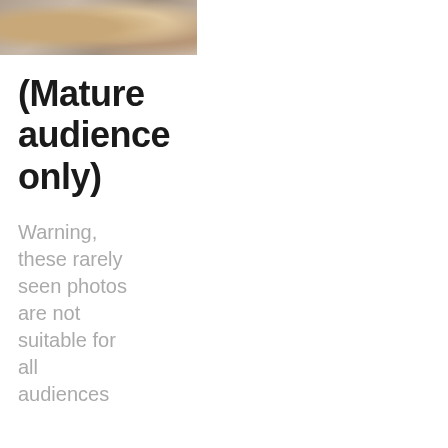[Figure (photo): Partial photo banner at top of left column showing people at a beach or outdoor setting]
(Mature audience only)
Warning, these rarely seen photos are not suitable for all audiences
Tips and Tricks